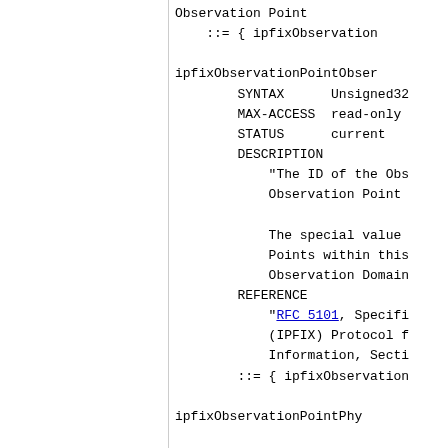Observation Point
    ::= { ipfixObservation

ipfixObservationPointObser
        SYNTAX      Unsigned32
        MAX-ACCESS  read-only
        STATUS      current
        DESCRIPTION
            "The ID of the Obs
            Observation Point

            The special value
            Points within this
            Observation Domain
        REFERENCE
            "RFC 5101, Specifi
            (IPFIX) Protocol f
            Information, Secti
        ::= { ipfixObservation

ipfixObservationPointPhy